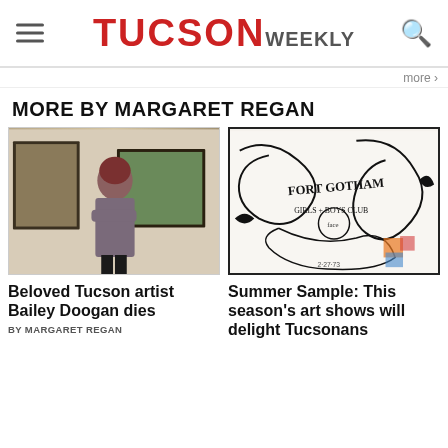TUCSON WEEKLY
more ›
MORE BY MARGARET REGAN
[Figure (photo): Woman with crossed arms standing in front of framed paintings in a gallery]
[Figure (photo): Black and white illustration with text: Fort Gotham Girls + Boys Club, dated 2-27-73]
Beloved Tucson artist Bailey Doogan dies
BY MARGARET REGAN
Summer Sample: This season’s art shows will delight Tucsonans
Tucsonans